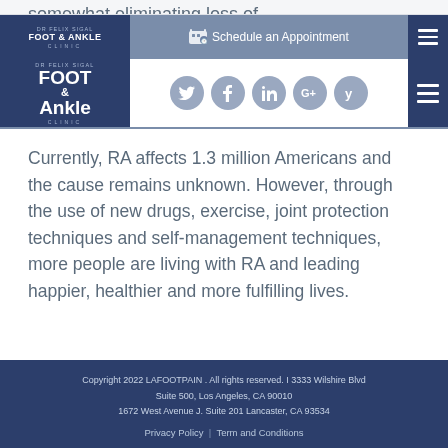somewhat eliminating loss of
[Figure (logo): Dr Felix Sigal Foot & Ankle Clinic logo with social media icons and Schedule an Appointment button]
Currently, RA affects 1.3 million Americans and the cause remains unknown. However, through the use of new drugs, exercise, joint protection techniques and self-management techniques, more people are living with RA and leading happier, healthier and more fulfilling lives.
Copyright 2022 LAFOOTPAIN . All rights reserved. I 3333 Wilshire Blvd Suite 500, Los Angeles, CA 90010 1672 West Avenue J. Suite 201 Lancaster, CA 93534 Privacy Policy | Term and Conditions